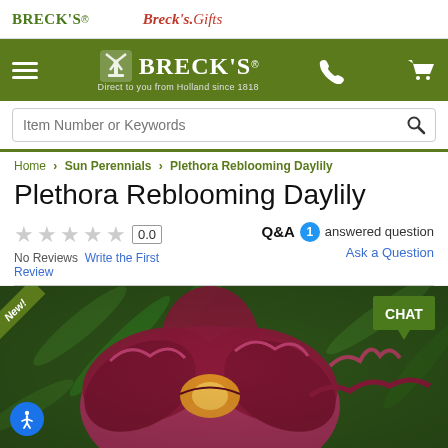BRECK'S | BRECK'S Gifts
[Figure (logo): Breck's logo with windmill icon and tagline 'Direct to you from Holland since 1818' on green background, with hamburger menu, phone, and cart icons]
Item Number or Keywords
Home › Sun Perennials › Plethora Reblooming Daylily
Plethora Reblooming Daylily
★★★★★ 0.0 | Q&A 1 answered question | No Reviews Write the First Review | Ask a Question
[Figure (photo): Close-up photo of a deep crimson/maroon Plethora Reblooming Daylily flower with ruffled petals and yellow center, against a green leafy background. Has 'New!' ribbon badge in top left corner and a green 'CHAT' badge in top right corner. An accessibility icon button appears at bottom left.]